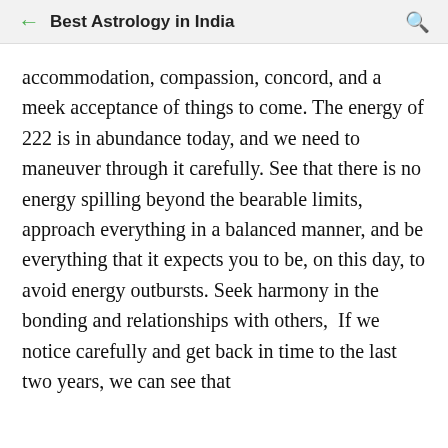Best Astrology in India
accommodation, compassion, concord, and a meek acceptance of things to come. The energy of 222 is in abundance today, and we need to maneuver through it carefully. See that there is no energy spilling beyond the bearable limits, approach everything in a balanced manner, and be everything that it expects you to be, on this day, to avoid energy outbursts. Seek harmony in the bonding and relationships with others,  If we notice carefully and get back in time to the last two years, we can see that